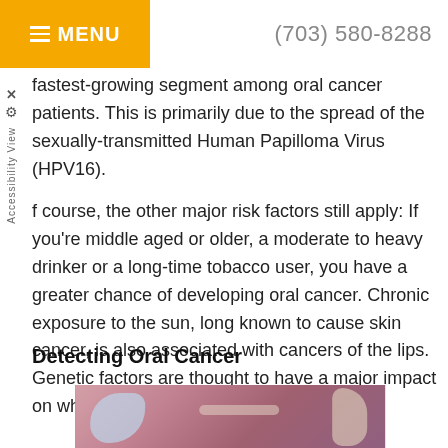MENU  (703) 580-8288
fastest-growing segment among oral cancer patients. This is primarily due to the spread of the sexually-transmitted Human Papilloma Virus (HPV16).
Of course, the other major risk factors still apply: If you're middle aged or older, a moderate to heavy drinker or a long-time tobacco user, you have a greater chance of developing oral cancer. Chronic exposure to the sun, long known to cause skin cancer, is also associated with cancers of the lips. Genetic factors are thought to have a major impact on who gets the disease as well.
Detecting Oral Cancer
[Figure (photo): Close-up clinical photo of a dental examination of the mouth, showing teeth and oral tissue being examined with dental instruments.]